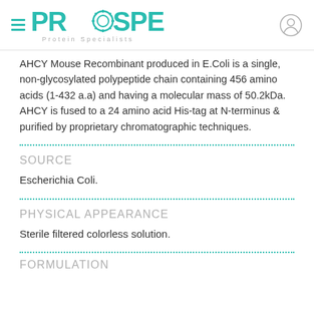PROSPEC Protein Specialists
AHCY Mouse Recombinant produced in E.Coli is a single, non-glycosylated polypeptide chain containing 456 amino acids (1-432 a.a) and having a molecular mass of 50.2kDa. AHCY is fused to a 24 amino acid His-tag at N-terminus & purified by proprietary chromatographic techniques.
SOURCE
Escherichia Coli.
PHYSICAL APPEARANCE
Sterile filtered colorless solution.
FORMULATION